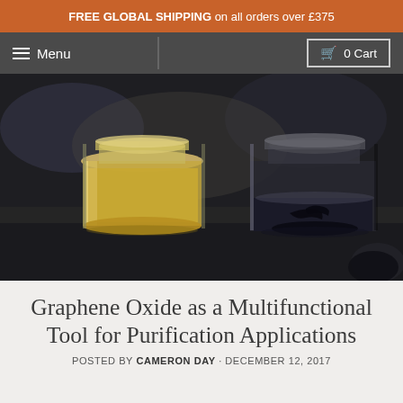FREE GLOBAL SHIPPING on all orders over £375
Menu  |  0 Cart
[Figure (photo): Two glass jars on a dark table. The left jar contains a golden/amber liquid and the right jar contains a clear liquid with dark sediment at the bottom. Background is blurred café or lab setting.]
Graphene Oxide as a Multifunctional Tool for Purification Applications
POSTED BY CAMERON DAY · DECEMBER 12, 2017